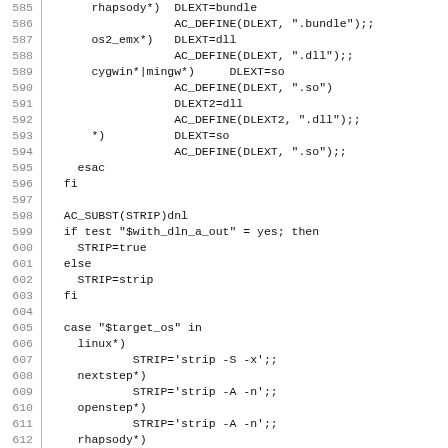585-614: shell script / autoconf code fragment showing DLEXT and STRIP case statements